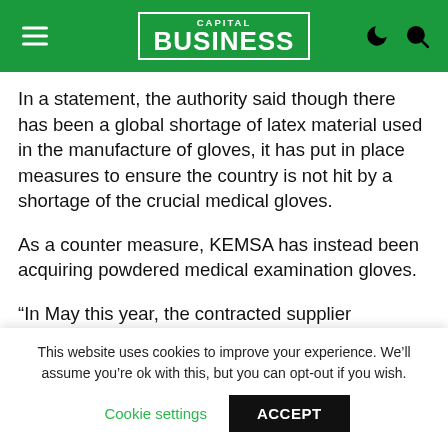CAPITAL BUSINESS
In a statement, the authority said though there has been a global shortage of latex material used in the manufacture of gloves, it has put in place measures to ensure the country is not hit by a shortage of the crucial medical gloves.
As a counter measure, KEMSA has instead been acquiring powdered medical examination gloves.
“In May this year, the contracted supplier delivered 80,000 packs of 50 pairs to the KEMSA supply Chain Centre in Embakasi. In the last two months, Counties have pulled over 70,000 and we are currently holding stock of up to
This website uses cookies to improve your experience. We’ll assume you’re ok with this, but you can opt-out if you wish.
Cookie settings   ACCEPT